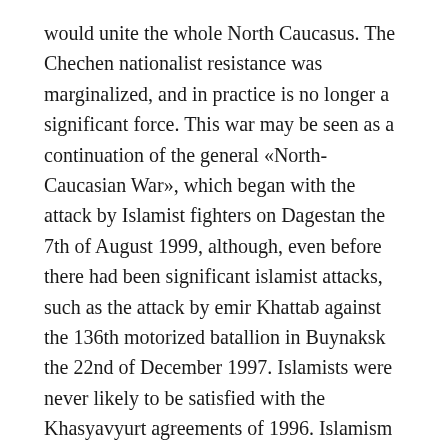would unite the whole North Caucasus. The Chechen nationalist resistance was marginalized, and in practice is no longer a significant force. This war may be seen as a continuation of the general «North-Caucasian War», which began with the attack by Islamist fighters on Dagestan the 7th of August 1999, although, even before there had been significant islamist attacks, such as the attack by emir Khattab against the 136th motorized batallion in Buynaksk the 22nd of December 1997. Islamists were never likely to be satisfied with the Khasyavyurt agreements of 1996. Islamism is fundamentally an anti-nationalist ideology, thus the formation of a nation state cannot be be the goal of islamists.
Thus, the coup of October 2007 means the end of one era and the beginning of a new one, therefore making